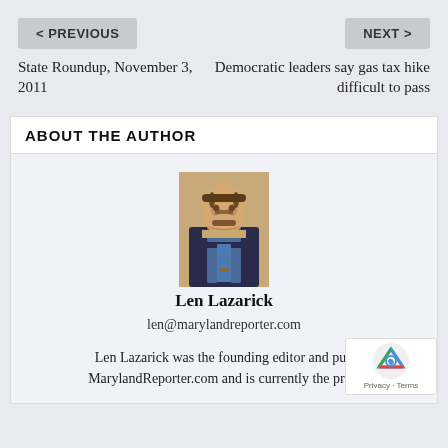< PREVIOUS
NEXT >
State Roundup, November 3, 2011
Democratic leaders say gas tax hike difficult to pass
ABOUT THE AUTHOR
[Figure (photo): Headshot photo of Len Lazarick, a man with dark hair and mustache wearing a dark suit and blue tie]
Len Lazarick
len@marylandreporter.com
Len Lazarick was the founding editor and pub MarylandReporter.com and is currently the pres.